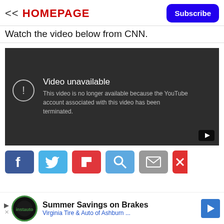<< HOMEPAGE
Watch the video below from CNN.
[Figure (screenshot): Embedded YouTube video player showing 'Video unavailable' error message: 'This video is no longer available because the YouTube account associated with this video has been terminated.']
[Figure (infographic): Social sharing bar with Facebook, Twitter, Flipboard, Google+, Email, and close (X) buttons]
[Figure (infographic): Advertisement banner: 'Summer Savings on Brakes - Virginia Tire & Auto of Ashburn ...' with logo and navigation arrow icon]